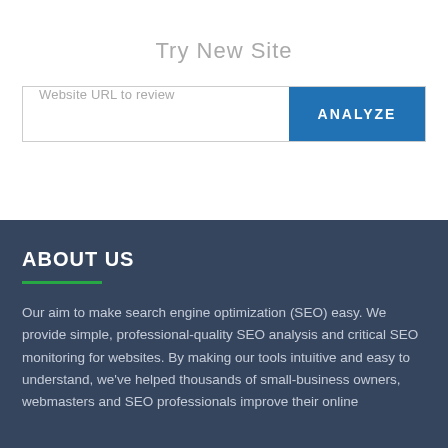Try New Site
[Figure (screenshot): Website URL input field with placeholder text 'Website URL to review' and a blue ANALYZE button]
ABOUT US
Our aim to make search engine optimization (SEO) easy. We provide simple, professional-quality SEO analysis and critical SEO monitoring for websites. By making our tools intuitive and easy to understand, we've helped thousands of small-business owners, webmasters and SEO professionals improve their online